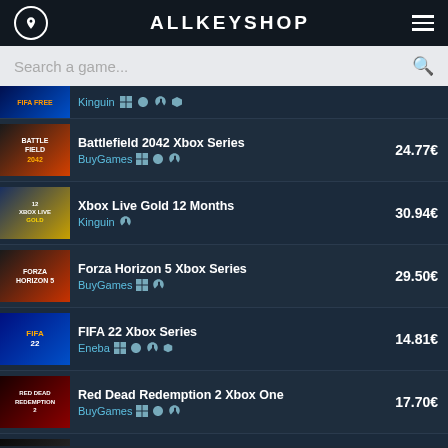ALLKEYSHOP
Search a game...
FIFA ... Kinguin 24.77€ (partial, cut off)
Battlefield 2042 Xbox Series - BuyGames - 24.77€
Xbox Live Gold 12 Months - Kinguin - 30.94€
Forza Horizon 5 Xbox Series - BuyGames - 29.50€
FIFA 22 Xbox Series - Eneba - 14.81€
Red Dead Redemption 2 Xbox One - BuyGames - 17.70€
Sekiro Shadows Die Twice Xbox O... - BuyGames - 16.39€
We use cookies to ensure you get the best experience on our website. If you continue to use the site we will assume that you are happy with it. Read more
FAR CRY 6 Xbox One - BuyGames - €
Cyberpunk 2077 Xbox One